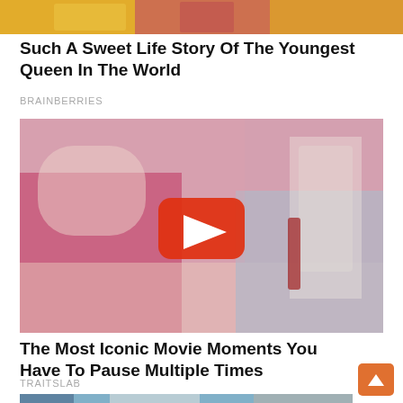[Figure (photo): Top cropped photo showing colorful clothing, partial view of people in bright yellow and pink outfits]
Such A Sweet Life Story Of The Youngest Queen In The World
BRAINBERRIES
[Figure (photo): Movie still showing a blonde woman in a pink dress and a man in a blue striped shirt, with an orange YouTube-style play button overlay in the center]
The Most Iconic Movie Moments You Have To Pause Multiple Times
TRAITSLAB
[Figure (photo): Partially visible bottom image showing a colorful scene with blue and other colors, cropped at bottom of page]